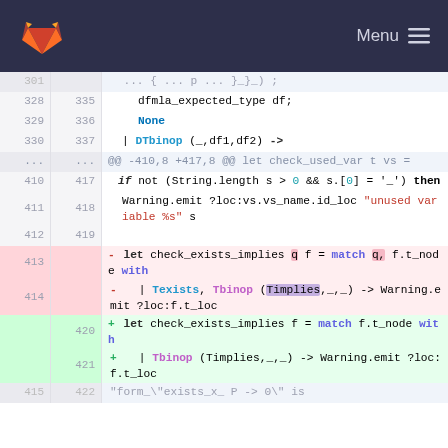GitLab navigation bar with logo and Menu
[Figure (screenshot): Code diff view showing OCaml source code changes. Lines 328-422 visible. Removed lines (413-414) show 'let check_exists_implies q f = match q, f.t_node with | Texists, Tbinop (Timplies,_,_) -> Warning.emit ?loc:f.t_loc'. Added lines (420-421) show 'let check_exists_implies f = match f.t_node with | Tbinop (Timplies,_,_) -> Warning.emit ?loc:f.t_loc'.]